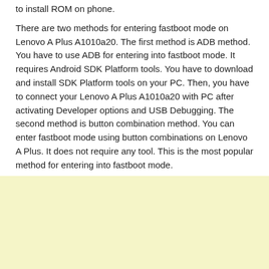to install ROM on phone.
There are two methods for entering fastboot mode on Lenovo A Plus A1010a20. The first method is ADB method. You have to use ADB for entering into fastboot mode. It requires Android SDK Platform tools. You have to download and install SDK Platform tools on your PC. Then, you have to connect your Lenovo A Plus A1010a20 with PC after activating Developer options and USB Debugging. The second method is button combination method. You can enter fastboot mode using button combinations on Lenovo A Plus. It does not require any tool. This is the most popular method for entering into fastboot mode.